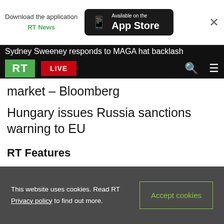[Figure (screenshot): App Store download banner with RT News text in green and Available on the App Store badge on dark background, with close X button]
[Figure (screenshot): RT website navigation bar with green RT logo, red LIVE button, search icon, and hamburger menu on black background]
Sydney Sweeney responds to MAGA hat backlash market – Bloomberg
Hungary issues Russia sanctions warning to EU
RT Features
This website uses cookies. Read RT Privacy policy to find out more.
Accept cookies